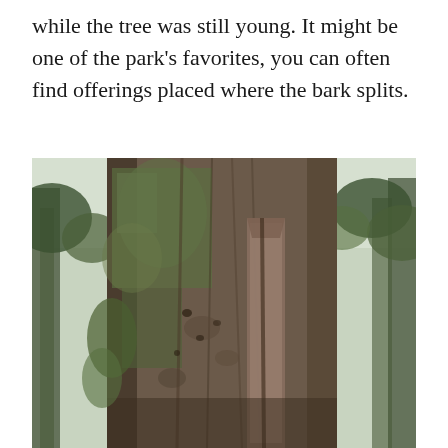while the tree was still young. It might be one of the park's favorites, you can often find offerings placed where the bark splits.
[Figure (photo): A close-up photograph looking up at an enormous old-growth tree trunk covered in thick moss and deeply furrowed bark. The bark has a prominent split or scar running vertically. Surrounding trees and a bright sky are visible in the background, suggesting a dense forest setting.]